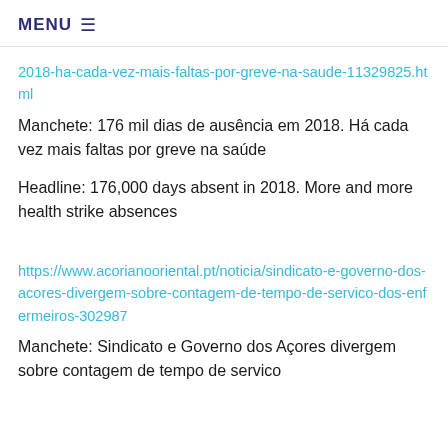MENU ☰
2018-ha-cada-vez-mais-faltas-por-greve-na-saude-11329825.html
Manchete: 176 mil dias de ausência em 2018. Há cada vez mais faltas por greve na saúde
Headline: 176,000 days absent in 2018. More and more health strike absences
https://www.acorianooriental.pt/noticia/sindicato-e-governo-dos-acores-divergem-sobre-contagem-de-tempo-de-servico-dos-enfermeiros-302987
Manchete: Sindicato e Governo dos Açores divergem sobre contagem de tempo de servico